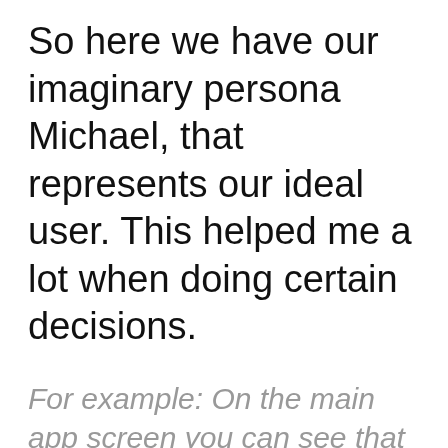So here we have our imaginary persona Michael, that represents our ideal user. This helped me a lot when doing certain decisions.
For example: On the main app screen you can see that I added a section with events that are happening TOMORROW. But why? Well, students are busy - and they don't want to make a commitment weeks / months down the road. There is MUCH LESS friction with commitment for next day since they know already if